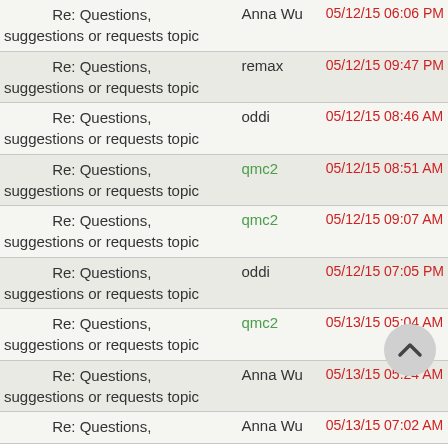| Subject | Author | Date/Time |
| --- | --- | --- |
| Re: Questions, suggestions or requests topic | Anna Wu | 05/12/15 06:06 PM |
| Re: Questions, suggestions or requests topic | remax | 05/12/15 09:47 PM |
| Re: Questions, suggestions or requests topic | oddi | 05/12/15 08:46 AM |
| Re: Questions, suggestions or requests topic | qmc2 | 05/12/15 08:51 AM |
| Re: Questions, suggestions or requests topic | qmc2 | 05/12/15 09:07 AM |
| Re: Questions, suggestions or requests topic | oddi | 05/12/15 07:05 PM |
| Re: Questions, suggestions or requests topic | qmc2 | 05/13/15 05:04 AM |
| Re: Questions, suggestions or requests topic | Anna Wu | 05/13/15 05:24 AM |
| Re: Questions, | Anna Wu | 05/13/15 07:02 AM |